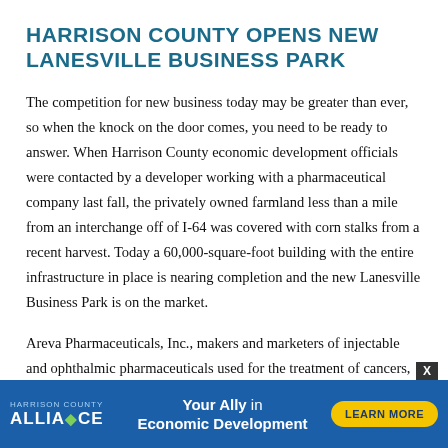HARRISON COUNTY OPENS NEW LANESVILLE BUSINESS PARK
The competition for new business today may be greater than ever, so when the knock on the door comes, you need to be ready to answer. When Harrison County economic development officials were contacted by a developer working with a pharmaceutical company last fall, the privately owned farmland less than a mile from an interchange off of I-64 was covered with corn stalks from a recent harvest. Today a 60,000-square-foot building with the entire infrastructure in place is nearing completion and the new Lanesville Business Park is on the market.
Areva Pharmaceuticals, Inc., makers and marketers of injectable and ophthalmic pharmaceuticals used for the treatment of cancers, hypertension, heart disease and glaucoma, is the first company to locate in the Lanesville Business Park. The facility starts with a gl... [facility for
[Figure (other): Advertisement banner for Harrison County Alliance: 'Your Ally in Economic Development' with a 'Learn More' button, blue background.]